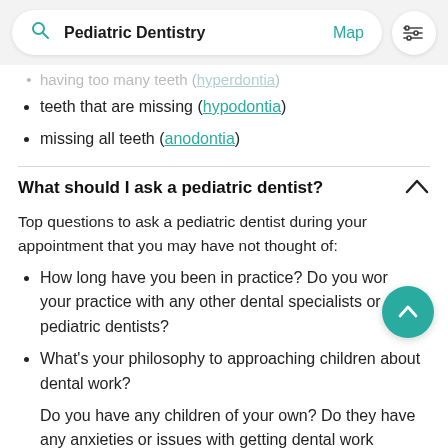[Figure (screenshot): Search bar with 'Pediatric Dentistry' query, Map link, and filter icon button]
having too many teeth (hyperdontia) [partially visible, cut off at top]
teeth that are missing (hypodontia)
missing all teeth (anodontia)
What should I ask a pediatric dentist?
Top questions to ask a pediatric dentist during your appointment that you may have not thought of:
How long have you been in practice? Do you work your practice with any other dental specialists or pediatric dentists?
What's your philosophy to approaching children about dental work?
Do you have any children of your own? Do they have any anxieties or issues with getting dental work [cut off]